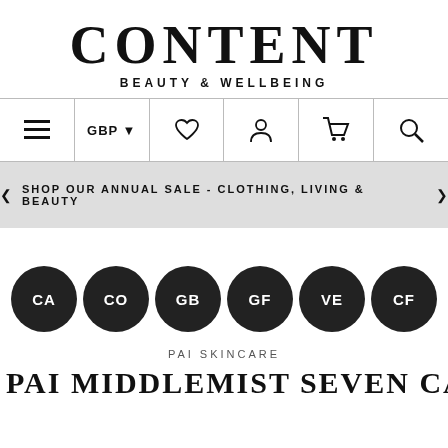CONTENT
BEAUTY & WELLBEING
[Figure (screenshot): Navigation bar with hamburger menu, GBP currency selector, wishlist heart icon, account icon, cart icon, and search icon]
SHOP OUR ANNUAL SALE - CLOTHING, LIVING & BEAUTY
[Figure (infographic): Six circular dark badges with white text: CA, CO, GB, GF, VE, CF]
PAI SKINCARE
PAI MIDDLEMIST SEVEN CAMELLIA & ROSE...